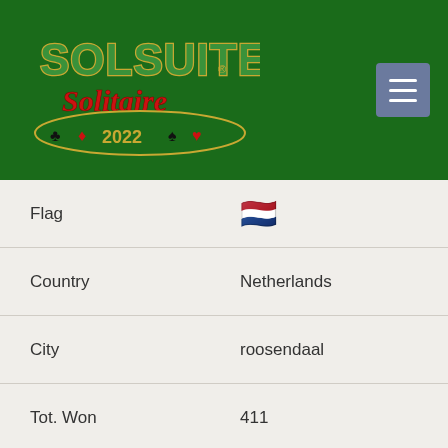[Figure (logo): SolSuite Solitaire 2022 logo on green background with menu button]
| Field | Value |
| --- | --- |
| Flag | 🇳🇱 |
| Country | Netherlands |
| City | roosendaal |
| Tot. Won | 411 |
| Ver. | 16.2 |
| Date | 4 Feb 04 |